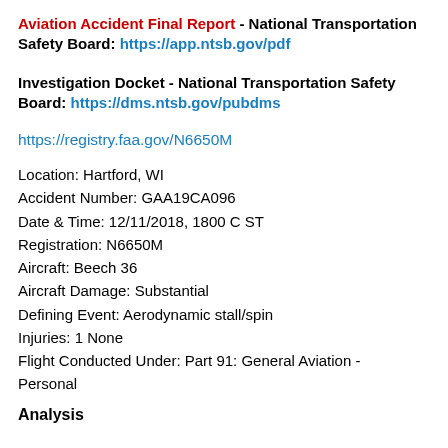Aviation Accident Final Report - National Transportation Safety Board: https://app.ntsb.gov/pdf
Investigation Docket - National Transportation Safety Board: https://dms.ntsb.gov/pubdms
https://registry.faa.gov/N6650M
Location: Hartford, WI
Accident Number: GAA19CA096
Date & Time: 12/11/2018, 1800 C ST
Registration: N6650M
Aircraft: Beech 36
Aircraft Damage: Substantial
Defining Event: Aerodynamic stall/spin
Injuries: 1 None
Flight Conducted Under: Part 91: General Aviation - Personal
Analysis